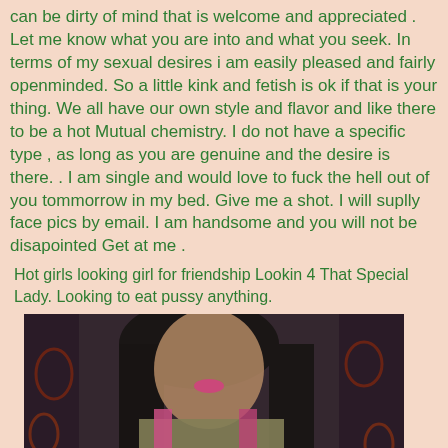can be dirty of mind that is welcome and appreciated . Let me know what you are into and what you seek. In terms of my sexual desires i am easily pleased and fairly openminded. So a little kink and fetish is ok if that is your thing. We all have our own style and flavor and like there to be a hot Mutual chemistry. I do not have a specific type , as long as you are genuine and the desire is there. . I am single and would love to fuck the hell out of you tommorrow in my bed. Give me a shot. I will suplly face pics by email. I am handsome and you will not be disapointed Get at me .
Hot girls looking girl for friendship Lookin 4 That Special Lady. Looking to eat pussy anything.
[Figure (photo): A blurry photo of a person wearing a light-colored outfit with pink straps, against a dark patterned background with red floral/scroll designs.]